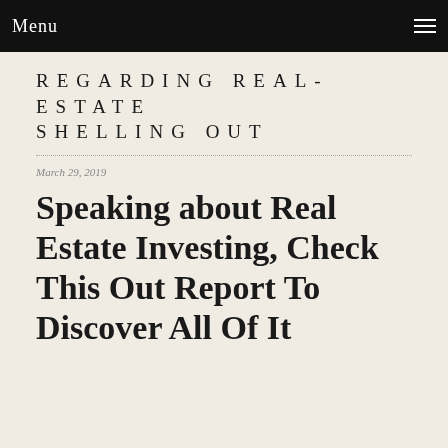Menu
REGARDING REAL-ESTATE SHELLING OUT
March 29, 2019
Speaking about Real Estate Investing, Check This Out Report To Discover All Of It